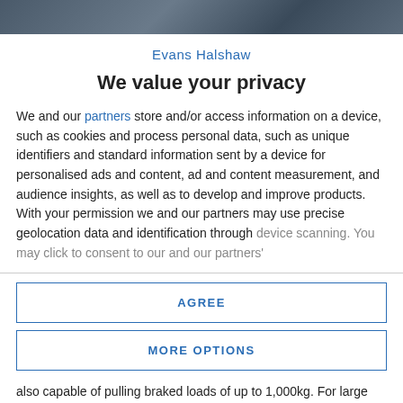[Figure (photo): Dark blurred automotive/vehicle photo strip at top of page]
Evans Halshaw
We value your privacy
We and our partners store and/or access information on a device, such as cookies and process personal data, such as unique identifiers and standard information sent by a device for personalised ads and content, ad and content measurement, and audience insights, as well as to develop and improve products. With your permission we and our partners may use precise geolocation data and identification through device scanning. You may click to consent to our and our partners'
AGREE
MORE OPTIONS
also capable of pulling braked loads of up to 1,000kg. For large